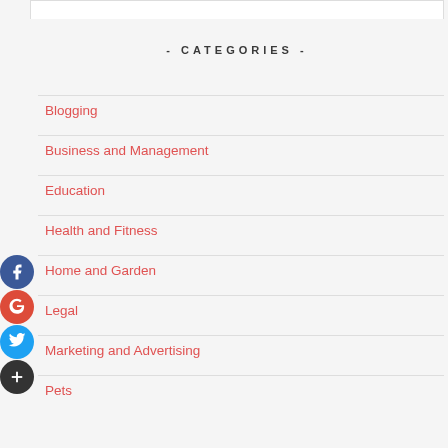- CATEGORIES -
Blogging
Business and Management
Education
Health and Fitness
Home and Garden
Legal
Marketing and Advertising
Pets